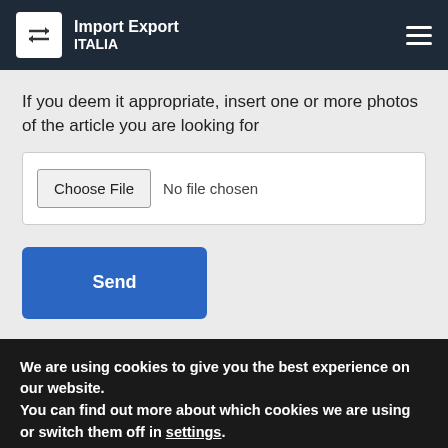Import Export ITALIA
If you deem it appropriate, insert one or more photos of the article you are looking for
[Figure (screenshot): File input control showing 'Choose File' button with 'No file chosen' text]
Send
We are using cookies to give you the best experience on our website.
You can find out more about which cookies we are using or switch them off in settings.
Accept